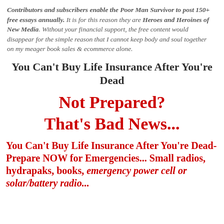Contributors and subscribers enable the Poor Man Survivor to post 150+ free essays annually. It is for this reason they are Heroes and Heroines of New Media. Without your financial support, the free content would disappear for the simple reason that I cannot keep body and soul together on my meager book sales & ecommerce alone.
You Can't Buy Life Insurance After You're Dead
Not Prepared?
That's Bad News...
You Can't Buy Life Insurance After You're Dead-Prepare NOW for Emergencies... Small radios, hydrapaks, books, emergency power cell or solar/battery radio...